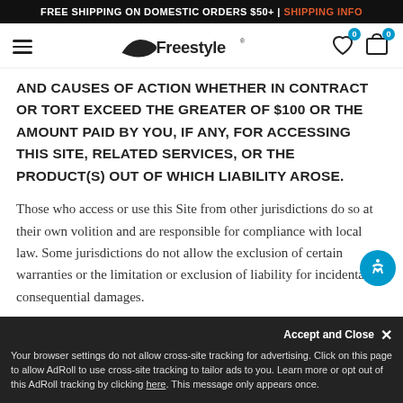FREE SHIPPING ON DOMESTIC ORDERS $50+ | SHIPPING INFO
[Figure (logo): Freestyle brand logo with hamburger menu and cart/wishlist icons]
AND CAUSES OF ACTION WHETHER IN CONTRACT OR TORT EXCEED THE GREATER OF $100 OR THE AMOUNT PAID BY YOU, IF ANY, FOR ACCESSING THIS SITE, RELATED SERVICES, OR THE PRODUCT(S) OUT OF WHICH LIABILITY AROSE.
Those who access or use this Site from other jurisdictions do so at their own volition and are responsible for compliance with local law.  Some jurisdictions do not allow the exclusion of certain warranties or the limitation or exclusion of liability for incidental or consequential damages.
Your browser settings do not allow cross-site tracking for advertising. Click on this page to allow AdRoll to use cross-site tracking to tailor ads to you. Learn more or opt out of this AdRoll tracking by clicking here. This message only appears once.